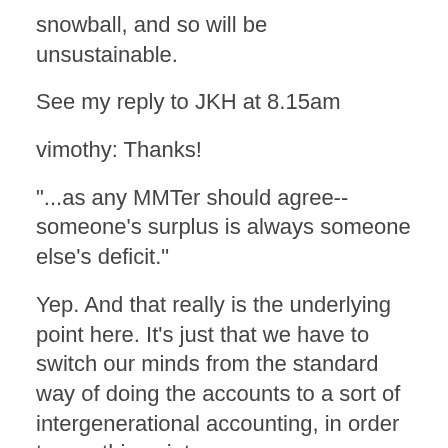snowball, and so will be unsustainable.
See my reply to JKH at 8.15am
vimothy: Thanks!
"...as any MMTer should agree--someone's surplus is always someone else's deficit."
Yep. And that really is the underlying point here. It's just that we have to switch our minds from the standard way of doing the accounts to a sort of intergenerational accounting, in order to see this point.